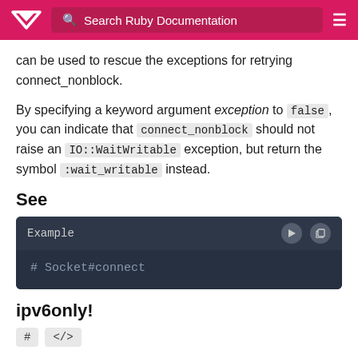Search Ruby Documentation
can be used to rescue the exceptions for retrying connect_nonblock.
By specifying a keyword argument exception to false, you can indicate that connect_nonblock should not raise an IO::WaitWritable exception, but return the symbol :wait_writable instead.
See
[Figure (screenshot): Code block with header 'Example' and icons, body showing '# Socket#connect']
ipv6only!
# </>